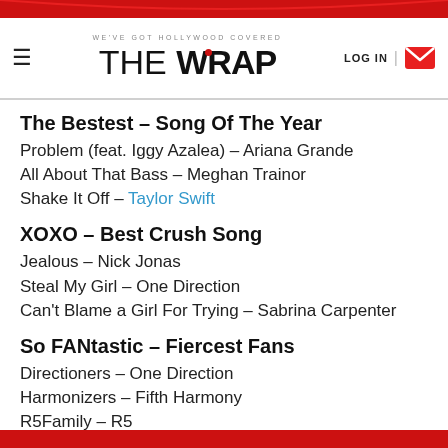WE'VE GOT HOLLYWOOD COVERED — THE WRAP — LOG IN
The Bestest – Song Of The Year
Problem (feat. Iggy Azalea) – Ariana Grande
All About That Bass – Meghan Trainor
Shake It Off – Taylor Swift
XOXO – Best Crush Song
Jealous – Nick Jonas
Steal My Girl – One Direction
Can't Blame a Girl For Trying – Sabrina Carpenter
So FANtastic – Fiercest Fans
Directioners – One Direction
Harmonizers – Fifth Harmony
R5Family – R5